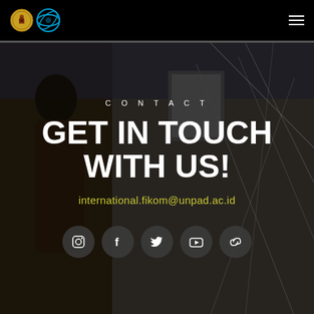[Figure (logo): University logo (Unpad crest) and international office logo on black nav bar]
[Figure (photo): Background photo of a person photographing artwork at an exhibition, dark overlay with geometric line decorations]
CONTACT
GET IN TOUCH WITH US!
international.fikom@unpad.ac.id
[Figure (infographic): Row of 5 circular social media icon buttons: Instagram, Facebook, Twitter, YouTube, and a chain/link icon]